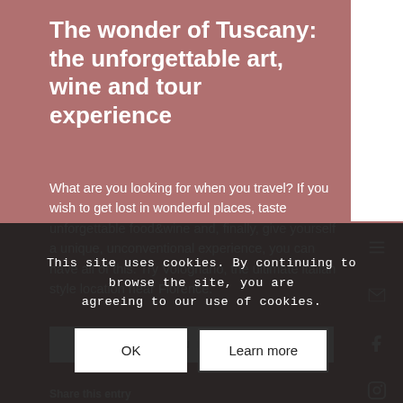The wonder of Tuscany: the unforgettable art, wine and tour experience
What are you looking for when you travel? If you wish to get lost in wonderful places, taste unforgettable food&wine and, finally, give yourself a unique, unconventional experience, you can have all of this. Try Volognano, the ultimate italian style location near Florence.
LEARN MORE
This site uses cookies. By continuing to browse the site, you are agreeing to our use of cookies.
Share this entry